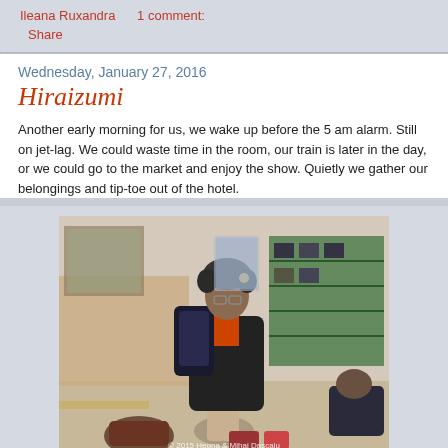Ileana Ruxandra     1 comment:
Share
Wednesday, January 27, 2016
Hiraizumi
Another early morning for us, we wake up before the 5 am alarm. Still on jet-lag. We could waste time in the room, our train is later in the day, or we could go to the market and enjoy the show. Quietly we gather our belongings and tip-toe out of the hotel.
[Figure (photo): A person with curly hair wearing a black jacket with a backpack, standing in what appears to be a Japanese building entrance. Another person is crouching on the right. There is a shoe rack in the background. Watermark: © 2015 Hegna & Mihai Dascalu]
No, Ioan does not have a flower in his hair! It is a chrysanthemum from a vase that sits on the table hidden almost completly by him, but you can see it in the mirror. We are surrounded by those shapeless